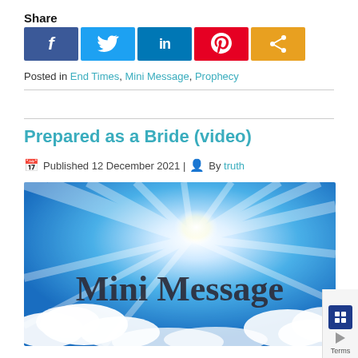Share
[Figure (infographic): Social share buttons: Facebook (blue), Twitter (light blue), LinkedIn (dark blue), Pinterest (red), Share (orange)]
Posted in End Times, Mini Message, Prophecy
Prepared as a Bride (video)
Published 12 December 2021 | By truth
[Figure (photo): Sky image with bright sun rays and clouds, text 'Mini Message' overlaid in dark serif font]